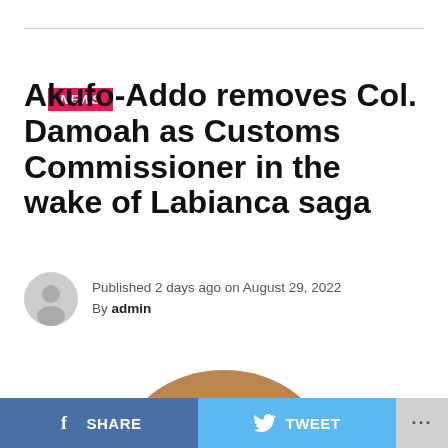NEWS
Akufo-Addo removes Col. Damoah as Customs Commissioner in the wake of Labianca saga
Published 2 days ago on August 29, 2022
By admin
[Figure (photo): Head and shoulders photo of Col. Damoah, a bald Black man, partially visible from the top of the head]
SHARE   TWEET   ...